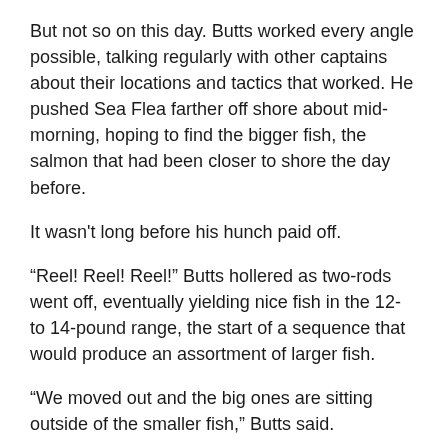But not so on this day. Butts worked every angle possible, talking regularly with other captains about their locations and tactics that worked. He pushed Sea Flea farther off shore about mid-morning, hoping to find the bigger fish, the salmon that had been closer to shore the day before.
It wasn't long before his hunch paid off.
“Reel! Reel! Reel!” Butts hollered as two-rods went off, eventually yielding nice fish in the 12- to 14-pound range, the start of a sequence that would produce an assortment of larger fish.
“We moved out and the big ones are sitting outside of the smaller fish,” Butts said.
“They were inside yesterday.”
“Every day we have to come out and fish for them. It